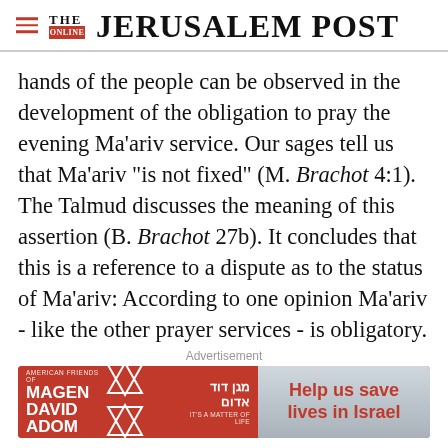THE JERUSALEM POST
hands of the people can be observed in the development of the obligation to pray the evening Ma'ariv service. Our sages tell us that Ma'ariv "is not fixed" (M. Brachot 4:1). The Talmud discusses the meaning of this assertion (B. Brachot 27b). It concludes that this is a reference to a dispute as to the status of Ma'ariv: According to one opinion Ma'ariv - like the other prayer services - is obligatory. A dissenting opinion holds that it is an
[Figure (infographic): Advertisement banner for American Friends of Magen David Adom with red background and 'Help us save lives in Israel' button]
Advertisement